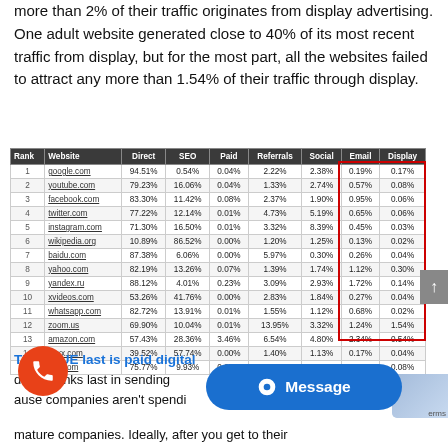more than 2% of their traffic originates from display advertising. One adult website generated close to 40% of its most recent traffic from display, but for the most part, all the websites failed to attract any more than 1.54% of their traffic through display.
| Rank | Website | Direct | SEO | Paid | Referrals | Social | Email | Display |
| --- | --- | --- | --- | --- | --- | --- | --- | --- |
| 1 | google.com | 94.51% | 0.54% | 0.04% | 2.22% | 2.38% | 0.19% | 0.17% |
| 2 | youtube.com | 79.23% | 16.06% | 0.04% | 1.33% | 2.74% | 0.57% | 0.08% |
| 3 | facebook.com | 83.30% | 11.42% | 0.08% | 2.37% | 1.90% | 0.95% | 0.06% |
| 4 | twitter.com | 77.22% | 12.14% | 0.01% | 4.73% | 5.19% | 0.65% | 0.06% |
| 5 | instagram.com | 71.30% | 16.50% | 0.01% | 3.32% | 8.39% | 0.45% | 0.03% |
| 6 | wikipedia.org | 10.89% | 86.52% | 0.00% | 1.20% | 1.25% | 0.13% | 0.02% |
| 7 | baidu.com | 87.38% | 6.06% | 0.00% | 5.97% | 0.30% | 0.26% | 0.04% |
| 8 | yahoo.com | 82.19% | 13.26% | 0.07% | 1.39% | 1.74% | 1.12% | 0.30% |
| 9 | yandex.ru | 88.12% | 4.01% | 0.23% | 3.09% | 2.93% | 1.72% | 0.14% |
| 10 | xvideos.com | 53.26% | 41.76% | 0.00% | 2.83% | 1.84% | 0.27% | 0.04% |
| 11 | whatsapp.com | 82.72% | 13.91% | 0.01% | 1.55% | 1.12% | 0.68% | 0.02% |
| 12 | zoom.us | 69.90% | 10.04% | 0.01% | 13.95% | 3.32% | 1.24% | 1.54% |
| 13 | amazon.com | 57.43% | 28.36% | 3.46% | 6.54% | 4.80% | 2.34% | 0.54% |
| 14 | xnxx.com | 39.52% | 57.74% | 0.00% | 1.40% | 1.13% | 0.17% | 0.04% |
| 15 | live.com | 75.77% | 9.93% | 0.02% | 9.19% | 2.75% | 2.27% | 0.08% |
The TRUE last is paid digital
digital ranks last in sending
ause companies aren't spendi
mature companies. Ideally, after you get to their